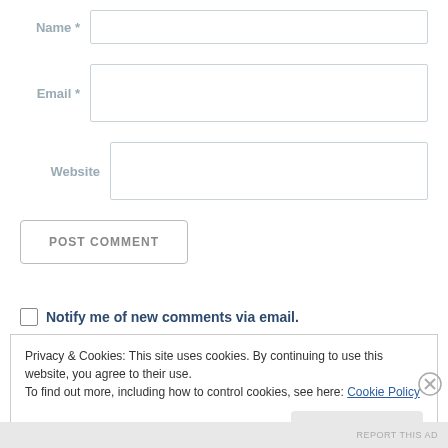Name *
Email *
Website
POST COMMENT
Notify me of new comments via email.
Privacy & Cookies: This site uses cookies. By continuing to use this website, you agree to their use.
To find out more, including how to control cookies, see here: Cookie Policy
Close and accept
REPORT THIS AD